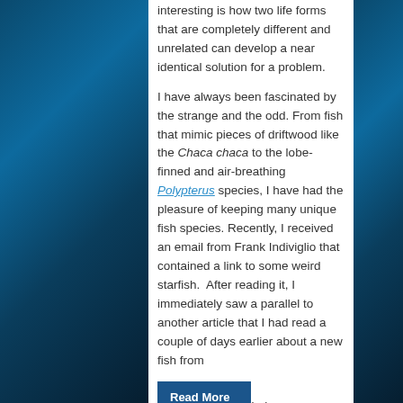interesting is how two life forms that are completely different and unrelated can develop a near identical solution for a problem.
I have always been fascinated by the strange and the odd. From fish that mimic pieces of driftwood like the Chaca chaca to the lobe-finned and air-breathing Polypterus species, I have had the pleasure of keeping many unique fish species. Recently, I received an email from Frank Indiviglio that contained a link to some weird starfish.  After reading it, I immediately saw a parallel to another article that I had read a couple of days earlier about a new fish from Lake Tanganyika.
Read More »
Brittle Stars, Sea Stars and Sea Urchins – an Introduction to Some